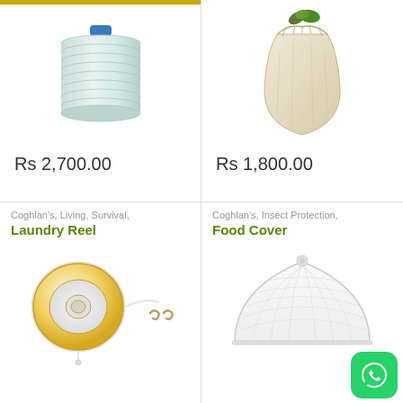[Figure (photo): Collapsible water container, light blue/white, ribbed cylindrical shape with blue cap]
Rs 2,700.00
[Figure (photo): Beige/tan burlap sack or laundry bag with green leaves visible at top opening]
Rs 1,800.00
Coghlan's, Living, Survival,
Laundry Reel
Coghlan's, Insect Protection,
Food Cover
[Figure (photo): Laundry reel device - round white and yellow disc with retractable cord and two metal hooks]
[Figure (photo): White mesh pop-up food cover tent, dome-shaped with mesh sides]
[Figure (logo): WhatsApp logo - green rounded square with white phone/chat icon]